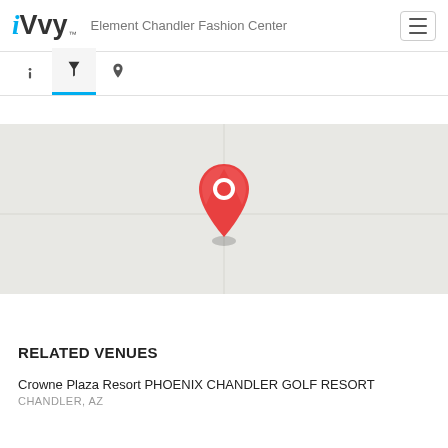iVvy — Element Chandler Fashion Center
[Figure (screenshot): Navigation tab bar with info (i), filter (martini glass icon, active with blue underline), and location pin icons]
[Figure (map): Gray map background with a red Google Maps-style location pin marker in the center]
RELATED VENUES
Crowne Plaza Resort PHOENIX CHANDLER GOLF RESORT
CHANDLER, AZ